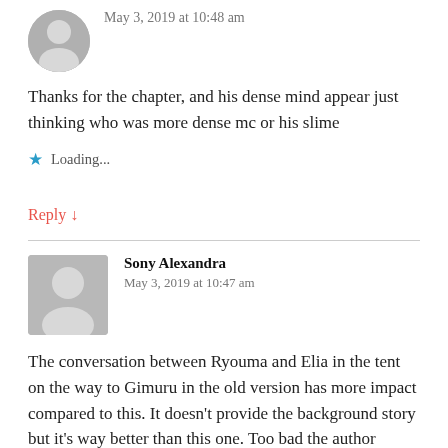May 3, 2019 at 10:48 am
Thanks for the chapter, and his dense mind appear just thinking who was more dense mc or his slime
Loading...
Reply ↓
Sony Alexandra
May 3, 2019 at 10:47 am
The conversation between Ryouma and Elia in the tent on the way to Gimuru in the old version has more impact compared to this. It doesn't provide the background story but it's way better than this one. Too bad the author choose to end the conversation with awkward feeling